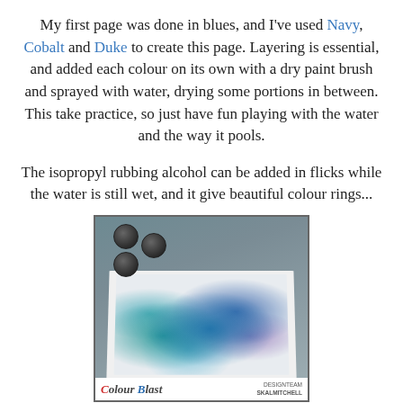My first page was done in blues, and I've used Navy, Cobalt and Duke to create this page. Layering is essential, and added each colour on its own with a dry paint brush and sprayed with water, drying some portions in between. This take practice, so just have fun playing with the water and the way it pools.
The isopropyl rubbing alcohol can be added in flicks while the water is still wet, and it give beautiful colour rings...
[Figure (photo): Photo of a blue watercolour painting on white paper with three black jar/tin containers of Colour Blast pigment placed on top. The painting has various shades of blue, teal, and purple with white areas. The bottom of the image shows the Colour Blast logo and 'DESIGNTEAM SKALMITCHELL' text.]